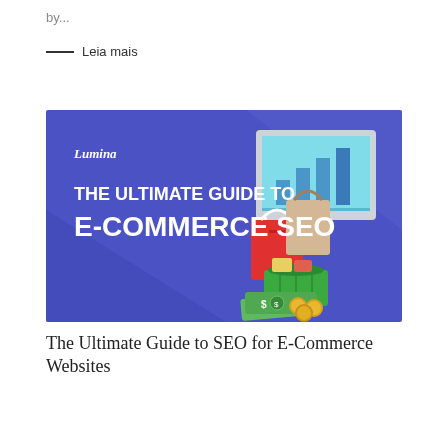by...
— Leia mais
[Figure (illustration): Banner image with purple/blue background showing e-commerce shopping items (shopping bags, money, coins, grocery basket) next to a computer monitor with bar chart. Text reads 'Lumina' and 'THE ULTIMATE GUIDE TO E-COMMERCE SEO' in white bold letters.]
The Ultimate Guide to SEO for E-Commerce Websites